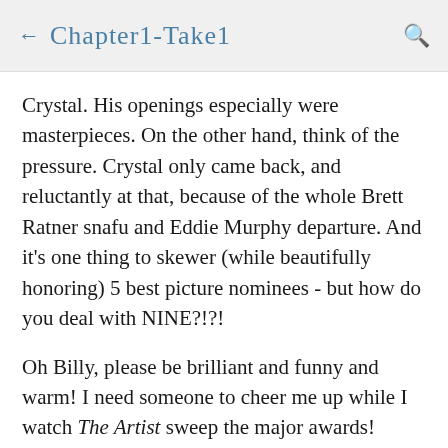← Chapter1-Take1
Crystal. His openings especially were masterpieces. On the other hand, think of the pressure. Crystal only came back, and reluctantly at that, because of the whole Brett Ratner snafu and Eddie Murphy departure. And it's one thing to skewer (while beautifully honoring) 5 best picture nominees - but how do you deal with NINE?!?!
Oh Billy, please be brilliant and funny and warm! I need someone to cheer me up while I watch The Artist sweep the major awards!
[Figure (photo): Bottom portion of a dark image showing what appears to be an Oscar statuette logo and partially visible text reading 'Billy Crystal Opening...']